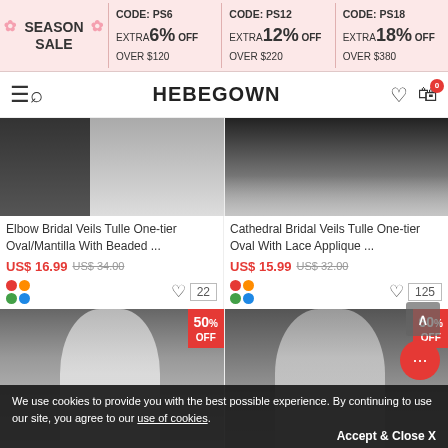[Figure (screenshot): Season Sale promo banner with discount codes PS6, PS12, PS18 offering 6%, 12%, 18% off over $120, $220, $380]
HEBEGOWN
[Figure (photo): Elbow Bridal Veils product image on dark background]
Elbow Bridal Veils Tulle One-tier Oval/Mantilla With Beaded ...
US$ 16.99  US$ 34.00
[Figure (photo): Cathedral Bridal Veils product image on dark background]
Cathedral Bridal Veils Tulle One-tier Oval With Lace Applique ...
US$ 15.99  US$ 32.00
[Figure (photo): Bride wearing white veil dress, 50% OFF badge]
[Figure (photo): Bride wearing lace off-shoulder dress with veil, 60% OFF badge]
We use cookies to provide you with the best possible experience. By continuing to use our site, you agree to our use of cookies.
Accept & Close X